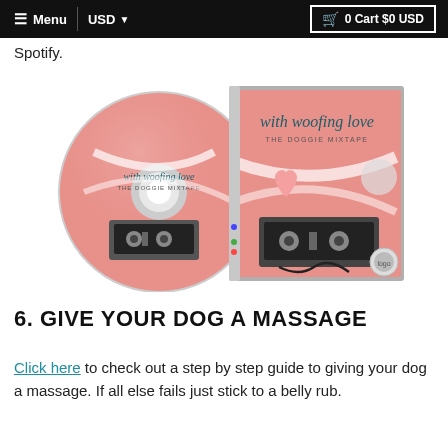≡ Menu  |  USD ▾  🛒 0 Cart $0 USD
Spotify.
[Figure (photo): CD and CD case for 'with woofing love – THE DOGGIE MIXTAPE' on a pink background featuring a cassette tape and cartoon dog illustration]
6. GIVE YOUR DOG A MASSAGE
Click here to check out a step by step guide to giving your dog a massage. If all else fails just stick to a belly rub.